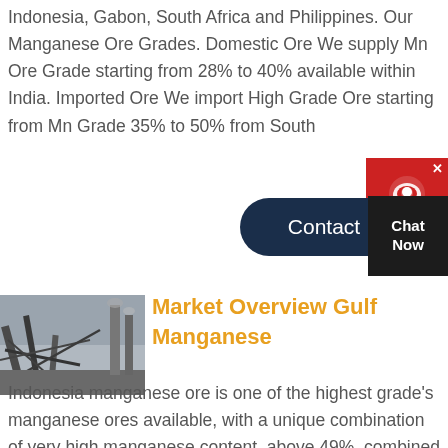Indonesia, Gabon, South Africa and Philippines. Our Manganese Ore Grades. Domestic Ore We supply Mn Ore Grade starting from 28% to 40% available within India. Imported Ore We import High Grade Ore starting from Mn Grade 35% to 50% from South
[Figure (screenshot): Contact button (dark navy pill shape) with text 'Contact' and a dark Chat Now box to the right, plus a red circular chat widget with X close button]
[Figure (photo): Industrial manganese ore processing site with metal structures and machinery under a grey sky]
Market Overview Gulf Manganese
Indonesia manganese ore is one of the highest grade's manganese ores available, with a unique combination of very high manganese content, above 49%, combined with low iron and phosphorous. These qualities